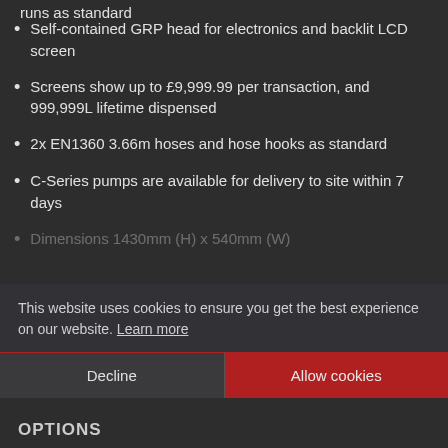runs as standard (partial, cut off at top)
Self-contained GRP head for electronics and backlit LCD screen
Screens show up to £9,999.99 per transaction, and 999,999L lifetime dispensed
2x EN1360 3.66m hoses and hose hooks as standard
C-Series pumps are available for delivery to site within 7 days
Dimensions 1430mm (H) x 540mm (W)
This website uses cookies to ensure you get the best experience on our website. Learn more
Decline
Allow cookies
OPTIONS